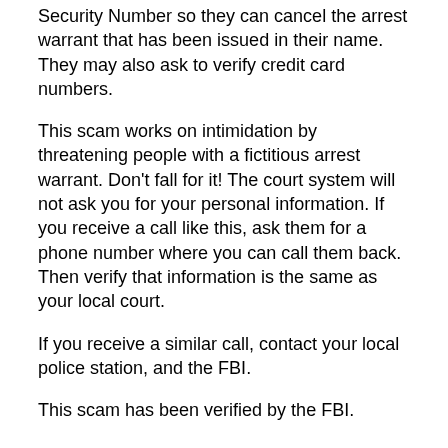Security Number so they can cancel the arrest warrant that has been issued in their name. They may also ask to verify credit card numbers.
This scam works on intimidation by threatening people with a fictitious arrest warrant. Don't fall for it! The court system will not ask you for your personal information. If you receive a call like this, ask them for a phone number where you can call them back. Then verify that information is the same as your local court.
If you receive a similar call, contact your local police station, and the FBI.
This scam has been verified by the FBI.
Avoid IRS Tax Scams and Identity Theft